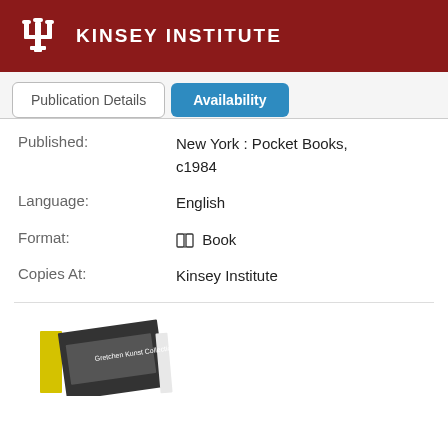KINSEY INSTITUTE
Publication Details
Availability
Published:
New York : Pocket Books, c1984
Language:
English
Format:
Book
Copies At:
Kinsey Institute
[Figure (photo): Photo of a book lying open/angled, showing a book cover with 'Gretchen Kunst Collection' text visible]